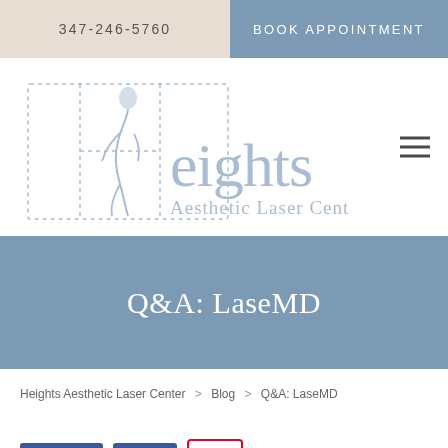347-246-5760 | BOOK APPOINTMENT
[Figure (logo): Heights Aesthetic Laser Center logo with stylized female figure silhouette and dotted letter H graphic]
Q&A: LaseMD
Heights Aesthetic Laser Center > Blog > Q&A: LaseMD
Like 0  Share  Pin it  Tweet